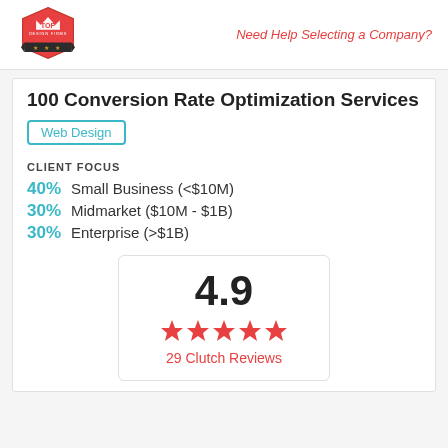[Figure (logo): Top Design Firms logo — red hexagon badge with crown and banner]
Need Help Selecting a Company?
100 Conversion Rate Optimization Services
Web Design
CLIENT FOCUS
40%  Small Business (<$10M)
30%  Midmarket ($10M - $1B)
30%  Enterprise (>$1B)
[Figure (infographic): Rating box showing 4.9 score with 5 red stars and '29 Clutch Reviews' label]